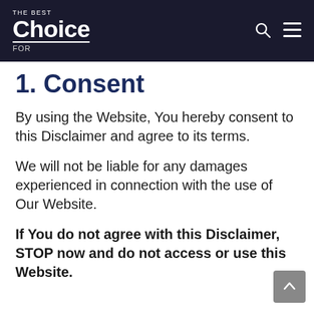THE BEST Choice FOR
1. Consent
By using the Website, You hereby consent to this Disclaimer and agree to its terms.
We will not be liable for any damages experienced in connection with the use of Our Website.
If You do not agree with this Disclaimer, STOP now and do not access or use this Website.